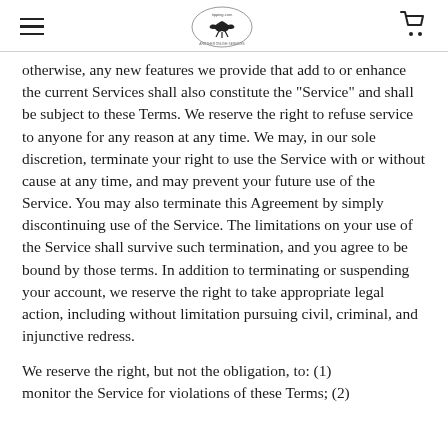[hamburger menu] [tipping.com logo] [cart icon]
otherwise, any new features we provide that add to or enhance the current Services shall also constitute the “Service” and shall be subject to these Terms. We reserve the right to refuse service to anyone for any reason at any time. We may, in our sole discretion, terminate your right to use the Service with or without cause at any time, and may prevent your future use of the Service. You may also terminate this Agreement by simply discontinuing use of the Service. The limitations on your use of the Service shall survive such termination, and you agree to be bound by those terms. In addition to terminating or suspending your account, we reserve the right to take appropriate legal action, including without limitation pursuing civil, criminal, and injunctive redress.
We reserve the right, but not the obligation, to: (1) monitor the Service for violations of these Terms; (2)